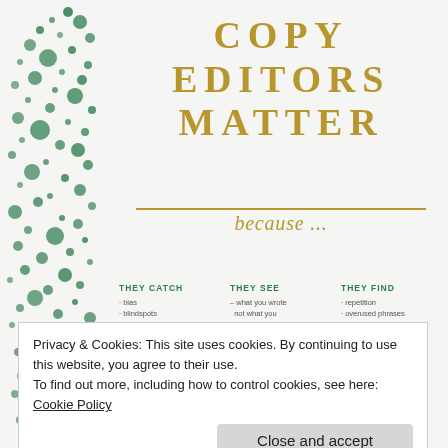[Figure (illustration): Decorative green dots/circles pattern on the left side of the page]
COPY EDITORS MATTER
because ...
THEY CATCH
· bias
· blindspots
· politically incorrect language
THEY SEE
– what you wrote not what you thought you wrote
– what the readers
THEY FIND
· repetition
· overused phrases
· ambiguity
Privacy & Cookies: This site uses cookies. By continuing to use this website, you agree to their use. To find out more, including how to control cookies, see here: Cookie Policy
Close and accept
· errors in format
· errors in style
· wrong information